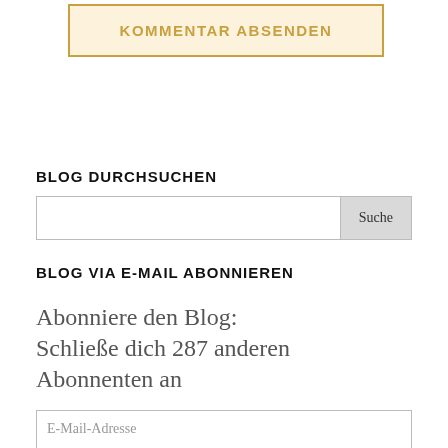[Figure (other): A button labeled KOMMENTAR ABSENDEN with golden/amber text and border on a light yellow background]
BLOG DURCHSUCHEN
[Figure (other): A search input field with a Suche (Search) button on the right]
BLOG VIA E-MAIL ABONNIEREN
Abonniere den Blog:
Schließe dich 287 anderen Abonnenten an
[Figure (other): An email input field with placeholder text E-Mail-Adresse]